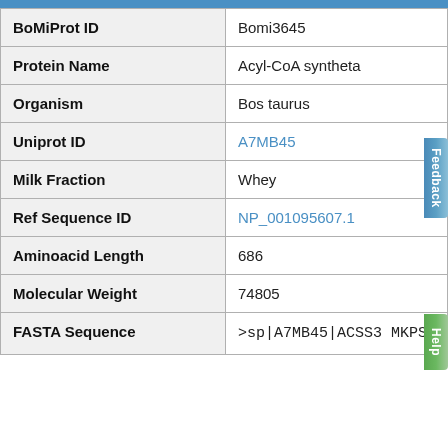| Field | Value |
| --- | --- |
| BoMiProt ID | Bomi3645 |
| Protein Name | Acyl-CoA syntheta… |
| Organism | Bos taurus |
| Uniprot ID | A7MB45 |
| Milk Fraction | Whey |
| Ref Sequence ID | NP_001095607.1 |
| Aminoacid Length | 686 |
| Molecular Weight | 74805 |
| FASTA Sequence | >sp|A7MB45|ACSS3...
MKPSWLQCRKVTGAGG...
YKTHFAASVTDPERFW...
ENGKGDKIAIIYDSPV...
MYAMLACARIGAIHSL...
LRTGQHKPDKVLTYNR... |